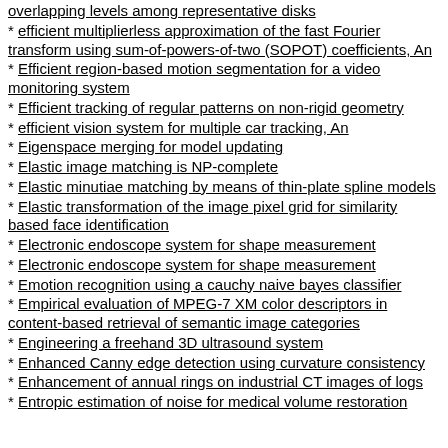overlapping levels among representative disks
* efficient multiplierless approximation of the fast Fourier transform using sum-of-powers-of-two (SOPOT) coefficients, An
* Efficient region-based motion segmentation for a video monitoring system
* Efficient tracking of regular patterns on non-rigid geometry
* efficient vision system for multiple car tracking, An
* Eigenspace merging for model updating
* Elastic image matching is NP-complete
* Elastic minutiae matching by means of thin-plate spline models
* Elastic transformation of the image pixel grid for similarity based face identification
* Electronic endoscope system for shape measurement
* Electronic endoscope system for shape measurement
* Emotion recognition using a cauchy naive bayes classifier
* Empirical evaluation of MPEG-7 XM color descriptors in content-based retrieval of semantic image categories
* Engineering a freehand 3D ultrasound system
* Enhanced Canny edge detection using curvature consistency
* Enhancement of annual rings on industrial CT images of logs
* Entropic estimation of noise for medical volume restoration